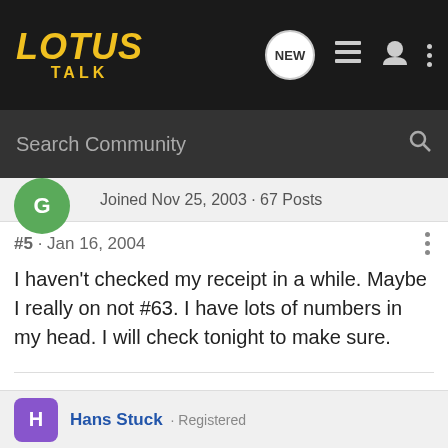[Figure (logo): Lotus Talk forum logo in yellow italic text on dark background]
Search Community
Joined Nov 25, 2003 · 67 Posts
#5 · Jan 16, 2004
I haven't checked my receipt in a while. Maybe I really on not #63. I have lots of numbers in my head. I will check tonight to make sure.
Matt Owens
'02 Honda S2000
Hans Stuck · Registered